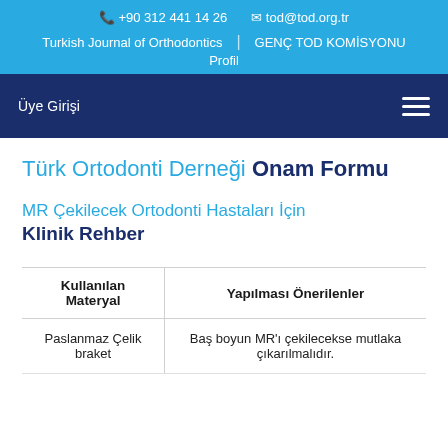+90 312 441 14 26   tod@tod.org.tr   Turkish Journal of Orthodontics | GENÇ TOD KOMİSYONU   Profil
Üye Girişi
Türk Ortodonti Derneği Onam Formu
MR Çekilecek Ortodonti Hastaları İçin Klinik Rehber
| Kullanılan Materyal | Yapılması Önerilenler |
| --- | --- |
| Paslanmaz Çelik braket | Baş boyun MR'ı çekilecekse mutlaka çıkarılmalıdır. |